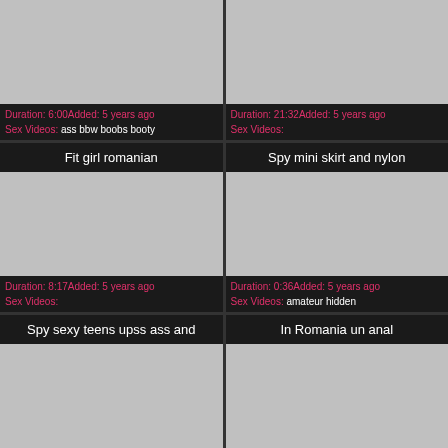[Figure (screenshot): Video thumbnail placeholder - gray rectangle]
Duration: 6:00Added: 5 years ago
Sex Videos: ass bbw boobs booty
[Figure (screenshot): Video thumbnail placeholder - gray rectangle]
Duration: 21:32Added: 5 years ago
Sex Videos:
Fit girl romanian
Spy mini skirt and nylon
[Figure (screenshot): Video thumbnail placeholder - gray rectangle]
Duration: 8:17Added: 5 years ago
Sex Videos:
[Figure (screenshot): Video thumbnail placeholder - gray rectangle]
Duration: 0:36Added: 5 years ago
Sex Videos: amateur hidden
Spy sexy teens upss ass and
In Romania un anal
[Figure (screenshot): Video thumbnail placeholder - gray rectangle]
[Figure (screenshot): Video thumbnail placeholder - gray rectangle]